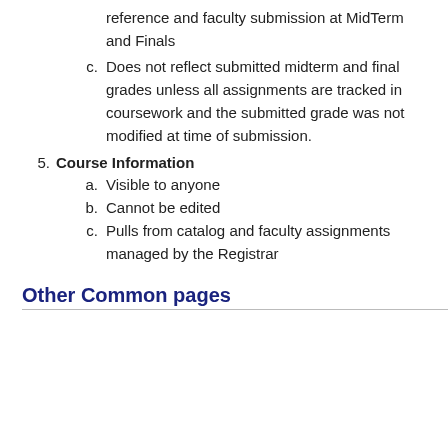reference and faculty submission at MidTerm and Finals
c. Does not reflect submitted midterm and final grades unless all assignments are tracked in coursework and the submitted grade was not modified at time of submission.
5. Course Information
a. Visible to anyone
b. Cannot be edited
c. Pulls from catalog and faculty assignments managed by the Registrar
Other Common pages